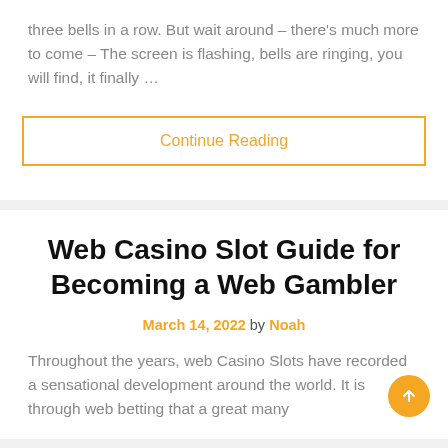three bells in a row. But wait around – there's much more to come – The screen is flashing, bells are ringing, you will find, it finally …
Continue Reading
Web Casino Slot Guide for Becoming a Web Gambler
March 14, 2022 by Noah
Throughout the years, web Casino Slots have recorded a sensational development around the world. It is through web betting that a great many